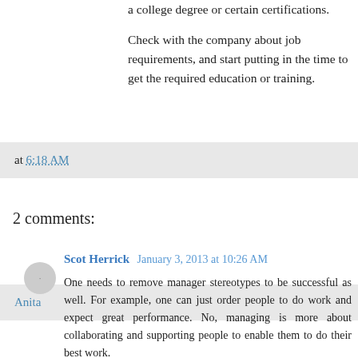a college degree or certain certifications.
Check with the company about job requirements, and start putting in the time to get the required education or training.
Anita at 6:18 AM
2 comments:
Scot Herrick  January 3, 2013 at 10:26 AM
One needs to remove manager stereotypes to be successful as well. For example, one can just order people to do work and expect great performance. No, managing is more about collaborating and supporting people to enable them to do their best work.
Not an easy job, management. But incredibly rewarding